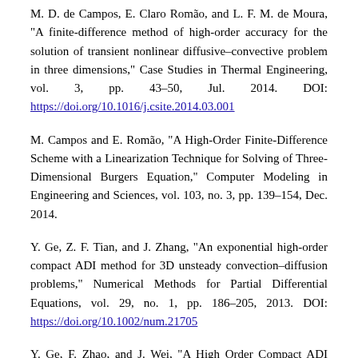M. D. de Campos, E. Claro Romão, and L. F. M. de Moura, "A finite-difference method of high-order accuracy for the solution of transient nonlinear diffusive–convective problem in three dimensions," Case Studies in Thermal Engineering, vol. 3, pp. 43–50, Jul. 2014. DOI: https://doi.org/10.1016/j.csite.2014.03.001
M. Campos and E. Romão, "A High-Order Finite-Difference Scheme with a Linearization Technique for Solving of Three-Dimensional Burgers Equation," Computer Modeling in Engineering and Sciences, vol. 103, no. 3, pp. 139–154, Dec. 2014.
Y. Ge, Z. F. Tian, and J. Zhang, "An exponential high-order compact ADI method for 3D unsteady convection–diffusion problems," Numerical Methods for Partial Differential Equations, vol. 29, no. 1, pp. 186–205, 2013. DOI: https://doi.org/10.1002/num.21705
Y. Ge, F. Zhao, and J. Wei, "A High Order Compact ADI Method...